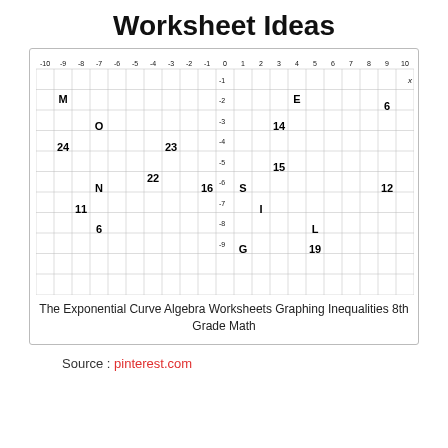Worksheet Ideas
[Figure (other): Coordinate grid graph with labeled points M, O, E, 24, 23, 14, 6, 5, N, 22, 16, S, 15, 12, 11, 6, I, L, G, 19 scattered across the grid ranging from -10 to 10 on x-axis and -9 to 1 on y-axis]
The Exponential Curve Algebra Worksheets Graphing Inequalities 8th Grade Math
Source : pinterest.com